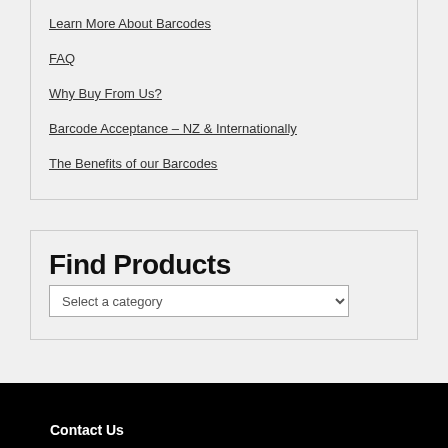Learn More About Barcodes
FAQ
Why Buy From Us?
Barcode Acceptance – NZ & Internationally
The Benefits of our Barcodes
Find Products
Select a category
Contact Us